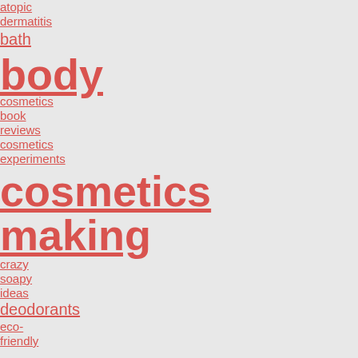atopic
dermatitis
bath
body
cosmetics
book
reviews
cosmetics
experiments
cosmetics making
crazy
soapy
ideas
deodorants
eco-friendly
household
emulsifiers
essential oils and flower water